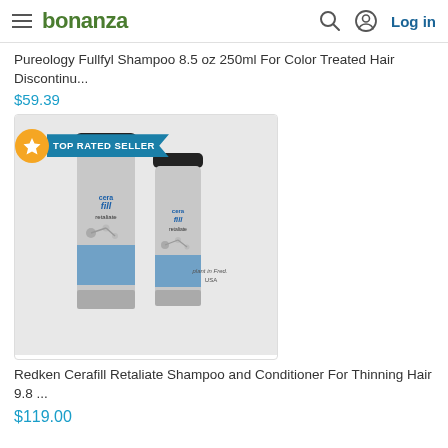bonanza — Log in
Pureology Fullfyl Shampoo 8.5 oz 250ml For Color Treated Hair Discontinu...
$59.39
[Figure (photo): Photo of two Redken Cerafill Retaliate shampoo and conditioner bottles on a gray background, with a TOP RATED SELLER badge overlay]
Redken Cerafill Retaliate Shampoo and Conditioner For Thinning Hair 9.8 ...
$119.00